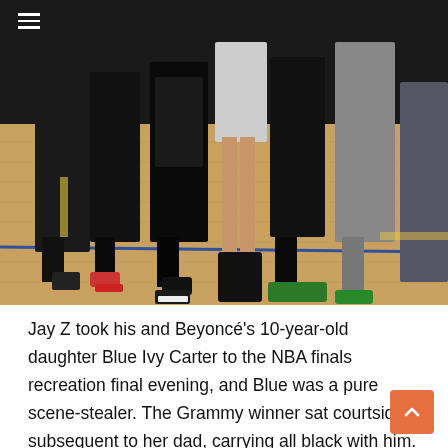≡
[Figure (photo): Group of people standing on a basketball court hardwood floor, showing legs and feet. Some wearing all black outfits and sneakers, others in jeans. Shot from waist/knee level down.]
Jay Z took his and Beyoncé's 10-year-old daughter Blue Ivy Carter to the NBA finals recreation final evening, and Blue was a pure scene-stealer. The Grammy winner sat courtside subsequent to her dad, carrying all black with him. She paired a leather-based jacket with a black prime, pants, and sneakers. Large silver